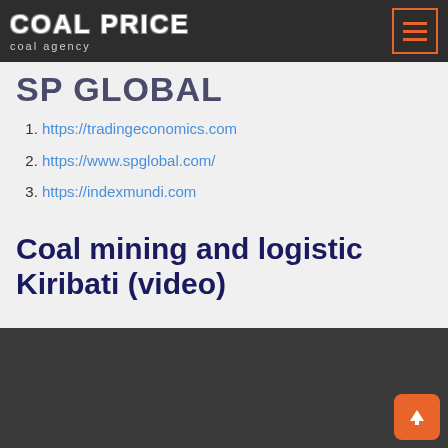COAL PRICE coal agency
SP GLOBAL (partial, cropped)
https://tradingeconomics.com
https://www.spglobal.com/
https://indexmundi.com
Coal mining and logistic Kiribati (video)
[Figure (other): Embedded video player showing dark background with scroll-to-top button]